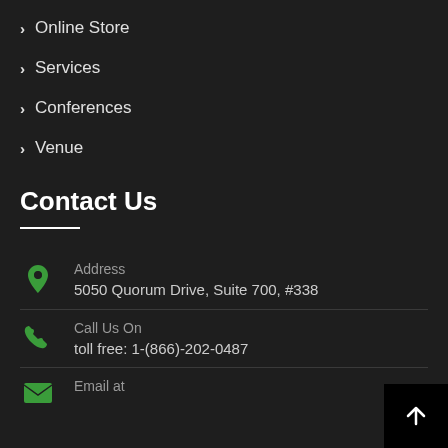> Online Store
> Services
> Conferences
> Venue
Contact Us
Address
5050 Quorum Drive, Suite 700, #338
Call Us On
toll free: 1-(866)-202-0487
Email at